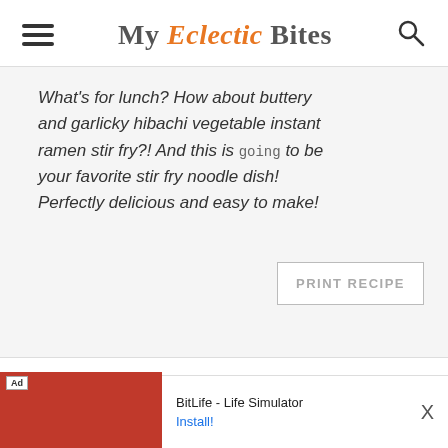My Eclectic Bites
What's for lunch? How about buttery and garlicky hibachi vegetable instant ramen stir fry?! And this is going to be your favorite stir fry noodle dish! Perfectly delicious and easy to make!
PRINT RECIPE
Author: George
Prep Time: 10   Cook Time:
[Figure (screenshot): Advertisement banner for BitLife - Life Simulator app with red background and game imagery]